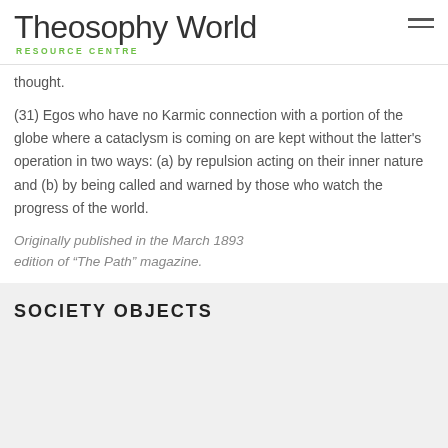Theosophy World RESOURCE CENTRE
thought.
(31) Egos who have no Karmic connection with a portion of the globe where a cataclysm is coming on are kept without the latter's operation in two ways: (a) by repulsion acting on their inner nature and (b) by being called and warned by those who watch the progress of the world.
Originally published in the March 1893 edition of “The Path” magazine.
SOCIETY OBJECTS